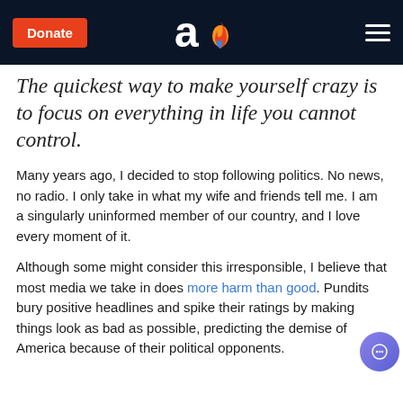Donate | [logo] | [menu]
The quickest way to make yourself crazy is to focus on everything in life you cannot control.
Many years ago, I decided to stop following politics. No news, no radio. I only take in what my wife and friends tell me. I am a singularly uninformed member of our country, and I love every moment of it.
Although some might consider this irresponsible, I believe that most media we take in does more harm than good. Pundits bury positive headlines and spike their ratings by making things look as bad as possible, predicting the demise of America because of their political opponents.